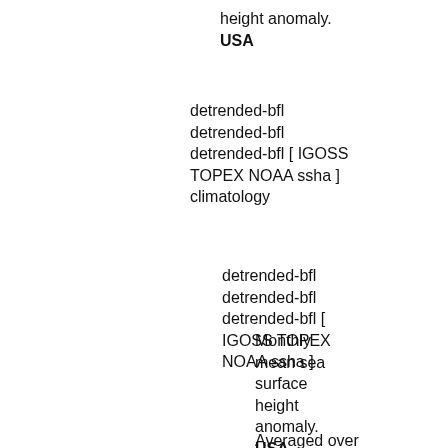height anomaly. USA
detrended-bfl detrended-bfl detrended-bfl [ IGOSS TOPEX NOAA ssha ] climatology
detrended-bfl detrended-bfl detrended-bfl [ IGOSS TOPEX NOAA ssha ]
Monthly mean sea surface height anomaly. USA
Averaged over